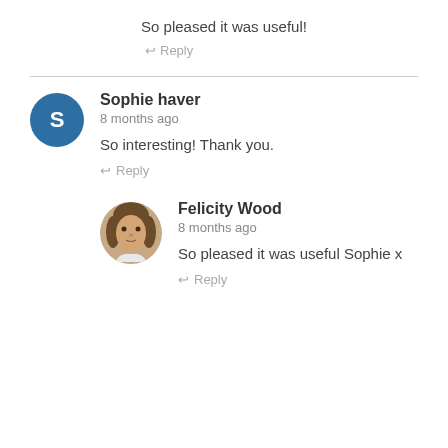So pleased it was useful!
Reply
Sophie haver
8 months ago
So interesting! Thank you.
Reply
Felicity Wood
8 months ago
So pleased it was useful Sophie x
Reply